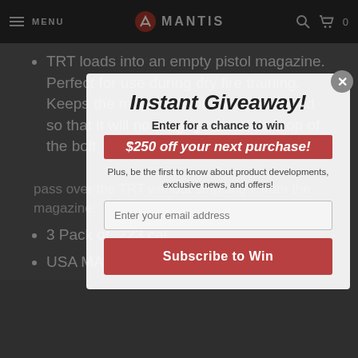MENU | MANTIS | 0
TRT loads into an empty pistol magazine. Perfect for use during dry fire training. Keeps the magazine follower positioned so that it will not engage the slide stop of the bolt.
3 Pack of .223 cal
USA MADE
Instant Giveaway!
Enter for a chance to win
$250 off your next purchase!
Plus, be the first to know about product developments, exclusive news, and offers!
Enter your email address
Subscribe to Win